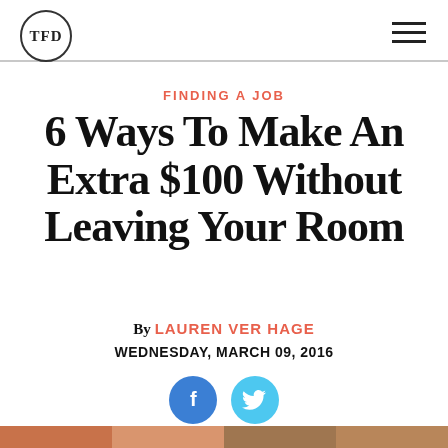TFD
FINDING A JOB
6 Ways To Make An Extra $100 Without Leaving Your Room
By LAUREN VER HAGE
WEDNESDAY, MARCH 09, 2016
[Figure (illustration): Facebook and Twitter social sharing icons (blue circles with f and bird logos)]
[Figure (photo): Partial image strip at bottom of page showing room/interior photos]